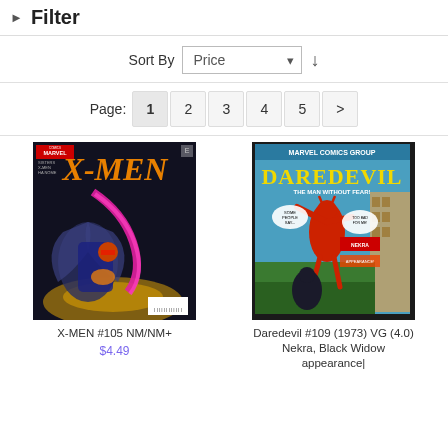Filter
Sort By Price
Page: 1 2 3 4 5 >
[Figure (photo): X-Men #105 comic book cover showing X-Men characters with bold orange X-MEN title text]
X-MEN #105 NM/NM+
$4.49
[Figure (photo): Daredevil #109 (1973) comic book cover from Marvel Comics Group showing Daredevil in red costume swinging through city]
Daredevil #109 (1973) VG (4.0) Nekra, Black Widow appearance|